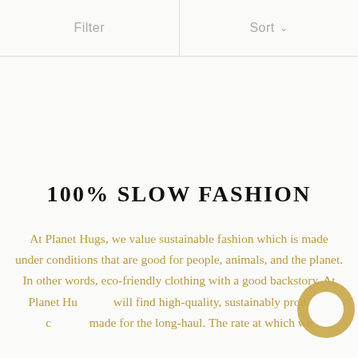Filter   Sort
100% SLOW FASHION
At Planet Hugs, we value sustainable fashion which is made under conditions that are good for people, animals, and the planet. In other words, eco-friendly clothing with a good backstory. At Planet Hugs you will find high-quality, sustainably produced clothing made for the long-haul. The rate at which we